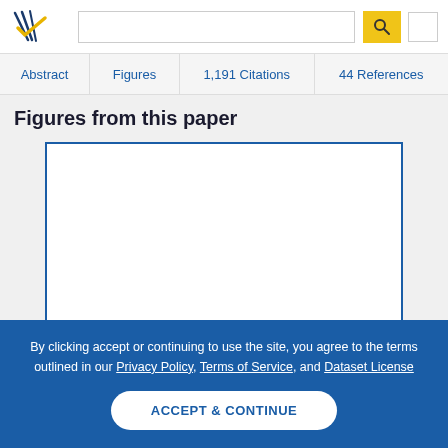[Figure (logo): Semantic Scholar logo - stylized book pages with blue and gold checkmark]
Abstract | Figures | 1,191 Citations | 44 References
Figures from this paper
[Figure (other): Empty white figure box with blue border]
By clicking accept or continuing to use the site, you agree to the terms outlined in our Privacy Policy, Terms of Service, and Dataset License
ACCEPT & CONTINUE